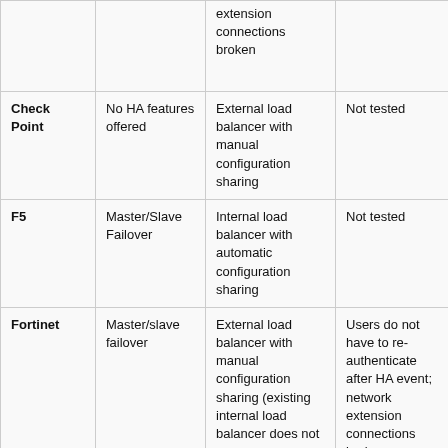| Vendor | HA Mode | Load Balancing | Notes |
| --- | --- | --- | --- |
|  |  | extension connections broken |  |
| Check Point | No HA features offered | External load balancer with manual configuration sharing | Not tested |
| F5 | Master/Slave Failover | Internal load balancer with automatic configuration sharing | Not tested |
| Fortinet | Master/slave failover | External load balancer with manual configuration sharing (existing internal load balancer does not | Users do not have to re-authenticate after HA event; network extension connections broken |